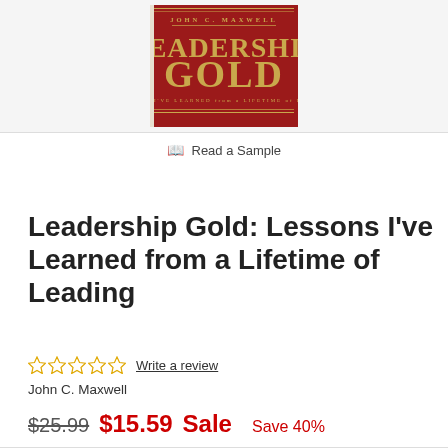[Figure (illustration): Book cover of 'Leadership Gold: Lessons I've Learned from a Lifetime of Leading' by John C. Maxwell. Red background with gold title text.]
📖 Read a Sample
Leadership Gold: Lessons I've Learned from a Lifetime of Leading
Write a review
John C. Maxwell
$25.99  $15.59 Sale  Save 40%